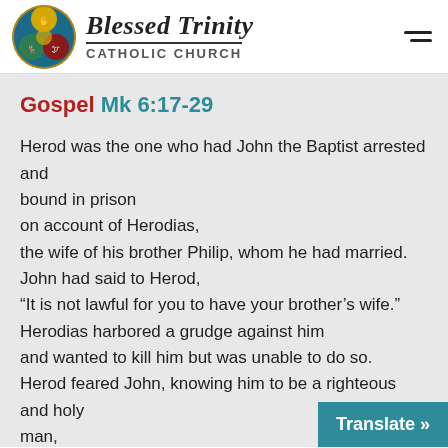Blessed Trinity CATHOLIC CHURCH
Gospel Mk 6:17-29
Herod was the one who had John the Baptist arrested and bound in prison
on account of Herodias,
the wife of his brother Philip, whom he had married.
John had said to Herod,
“It is not lawful for you to have your brother’s wife.”
Herodias harbored a grudge against him
and wanted to kill him but was unable to do so.
Herod feared John, knowing him to be a righteous and holy man,
and kept him in custody.
When he heard him speak he was very mu